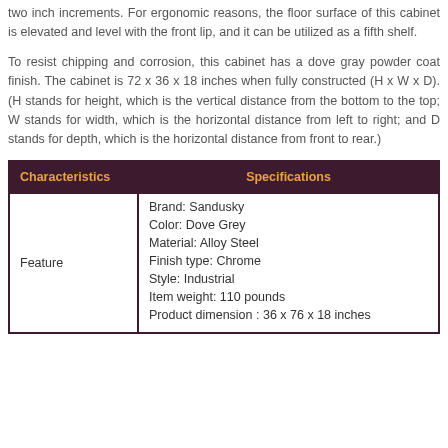two inch increments. For ergonomic reasons, the floor surface of this cabinet is elevated and level with the front lip, and it can be utilized as a fifth shelf.
To resist chipping and corrosion, this cabinet has a dove gray powder coat finish. The cabinet is 72 x 36 x 18 inches when fully constructed (H x W x D). (H stands for height, which is the vertical distance from the bottom to the top; W stands for width, which is the horizontal distance from left to right; and D stands for depth, which is the horizontal distance from front to rear.)
| Characteristics | Specifications |
| --- | --- |
| Feature | Brand: Sandusky
Color: Dove Grey
Material: Alloy Steel
Finish type: Chrome
Style: Industrial
Item weight: 110 pounds
Product dimension : 36 x 76 x 18 inches |